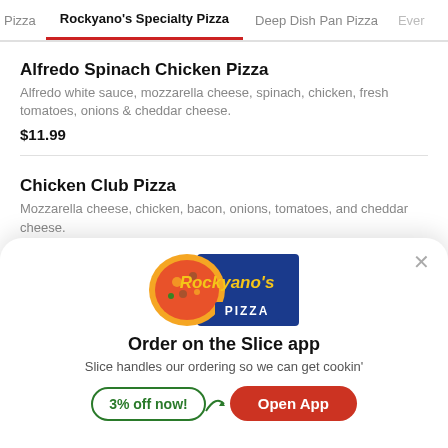Pizza  |  Rockyano's Specialty Pizza  |  Deep Dish Pan Pizza  |  Every
Alfredo Spinach Chicken Pizza
Alfredo white sauce, mozzarella cheese, spinach, chicken, fresh tomatoes, onions & cheddar cheese.
$11.99
Chicken Club Pizza
Mozzarella cheese, chicken, bacon, onions, tomatoes, and cheddar cheese.
$11.99
[Figure (logo): Rockyano's Pizza logo with pizza slice image on blue background]
Order on the Slice app
Slice handles our ordering so we can get cookin'
3% off now!
Open App